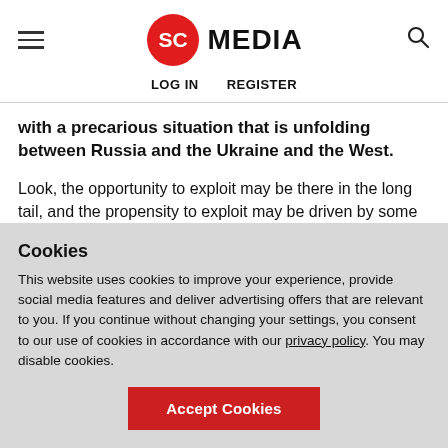SC MEDIA — LOG IN   REGISTER
with a precarious situation that is unfolding between Russia and the Ukraine and the West.
Look, the opportunity to exploit may be there in the long tail, and the propensity to exploit may be driven by some of the geotensions we're seeing, but geotension isn't new; even the current situation with Ukraine and Russia — they have had a
Cookies
This website uses cookies to improve your experience, provide social media features and deliver advertising offers that are relevant to you. If you continue without changing your settings, you consent to our use of cookies in accordance with our privacy policy. You may disable cookies.
Accept Cookies